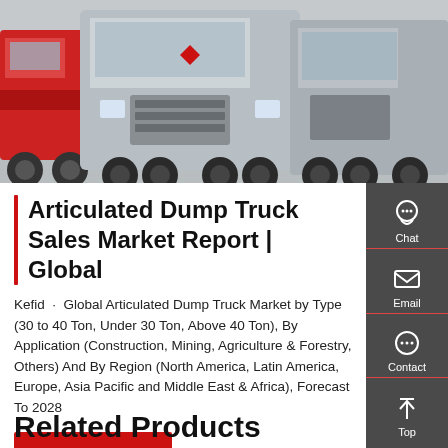[Figure (photo): Photograph of multiple large articulated dump trucks parked in a row, seen from the front, on a paved surface with hills in the background.]
Articulated Dump Truck Sales Market Report | Global
Kefid · Global Articulated Dump Truck Market by Type (30 to 40 Ton, Under 30 Ton, Above 40 Ton), By Application (Construction, Mining, Agriculture & Forestry, Others) And By Region (North America, Latin America, Europe, Asia Pacific and Middle East & Africa), Forecast To 2028
Get a Quote
Related Products